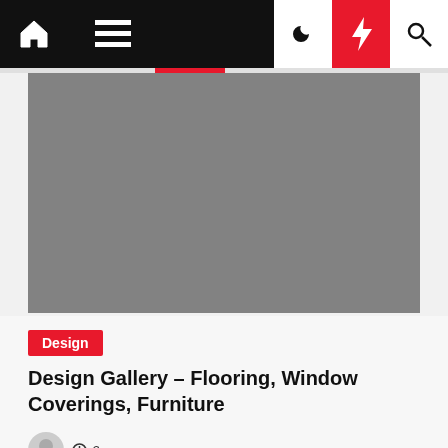Navigation bar with home, menu, moon, bolt, and search icons
[Figure (photo): Gray placeholder hero image area]
Design
Design Gallery – Flooring, Window Coverings, Furniture
2 years ago
[Figure (photo): Partial bottom image strip, gray background with partially visible interior scene]